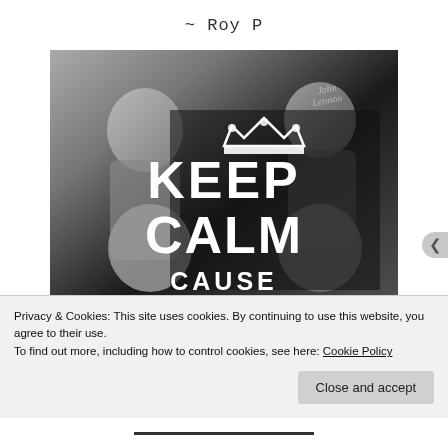~ Roy P
[Figure (photo): Black and white photo of four young men (The Beatles) with a 'Keep Calm' typography overlay showing a crown, the words KEEP CALM, and CAUSE partially visible at the bottom. A handwritten signature is visible in the upper right.]
Privacy & Cookies: This site uses cookies. By continuing to use this website, you agree to their use.
To find out more, including how to control cookies, see here: Cookie Policy
Close and accept